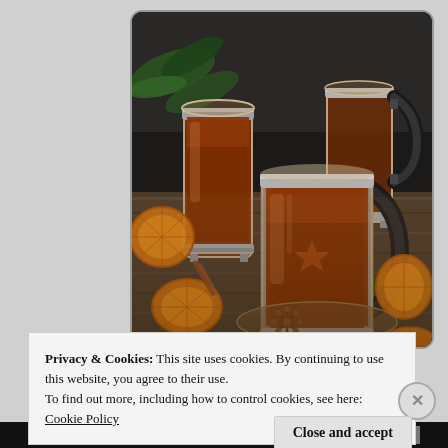[Figure (photo): Three glass mugs filled with dark amber tea or mulled drink, styled with dried orange slices, star anise, pine branches, and cinnamon on a wooden surface. Dark moody background.]
Privacy & Cookies: This site uses cookies. By continuing to use this website, you agree to their use.
To find out more, including how to control cookies, see here:
Cookie Policy
Close and accept
View Today's Top Deals!